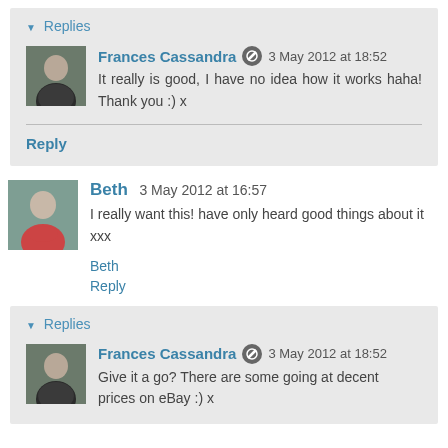▼ Replies
Frances Cassandra 3 May 2012 at 18:52
It really is good, I have no idea how it works haha! Thank you :) x
Reply
Beth 3 May 2012 at 16:57
I really want this! have only heard good things about it xxx
Beth
Reply
▼ Replies
Frances Cassandra 3 May 2012 at 18:52
Give it a go? There are some going at decent prices on eBay :) x